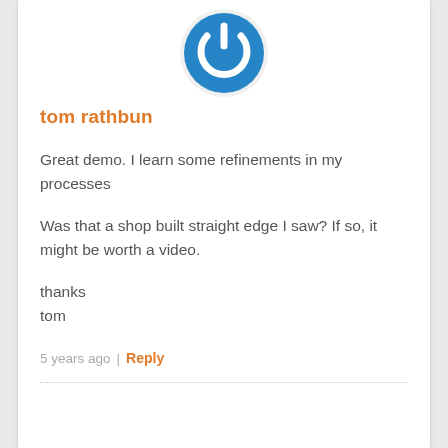[Figure (logo): Blue circular power button icon on white circle background]
tom rathbun
Great demo. I learn some refinements in my processes
Was that a shop built straight edge I saw? If so, it might be worth a video.
thanks
tom
5 years ago | Reply